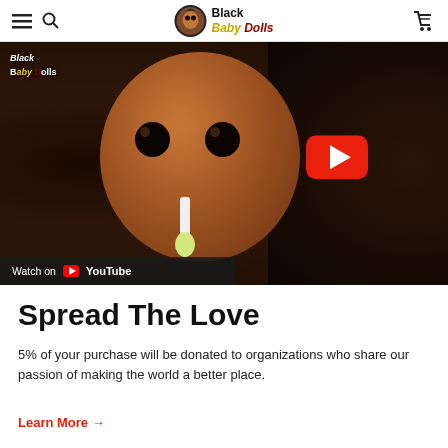Black Baby Dolls — navigation bar with hamburger menu, search, logo, and cart icon
[Figure (screenshot): YouTube video thumbnail showing a Black baby doll with curly hair holding a bottle, with 'Black Baby Dolls' watermark text, a red YouTube play button overlay, and a 'Watch on YouTube' bar at the bottom left.]
Spread The Love
5% of your purchase will be donated to organizations who share our passion of making the world a better place.
Learn More →